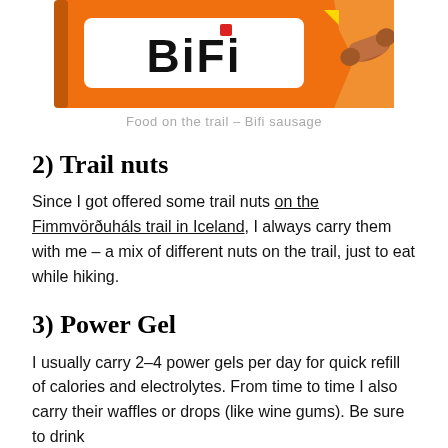[Figure (photo): BiFi sausage product packaging — orange wrapper with BiFi logo in black and white lettering, with a sausage visible on the right side of the package.]
Food on the trail – Bifi sausage
2) Trail nuts
Since I got offered some trail nuts on the Fimmvörðuháls trail in Iceland, I always carry them with me – a mix of different nuts on the trail, just to eat while hiking.
3) Power Gel
I usually carry 2–4 power gels per day for quick refill of calories and electrolytes. From time to time I also carry their waffles or drops (like wine gums). Be sure to drink